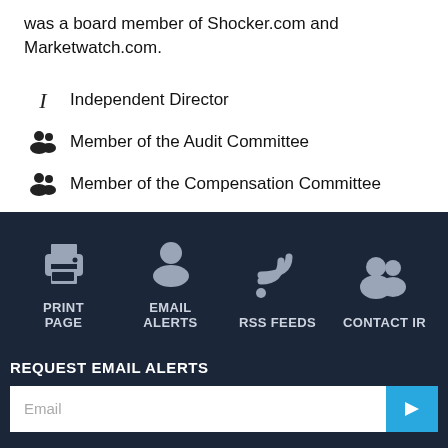was a board member of Shocker.com and Marketwatch.com.
Independent Director
Member of the Audit Committee
Member of the Compensation Committee
[Figure (infographic): Footer navigation panel on dark navy background with four icons and labels: Print Page (printer icon), Email Alerts (person icon), RSS Feeds (RSS icon), Contact IR (group icon). Below: REQUEST EMAIL ALERTS section with email input field and blue submit arrow button.]